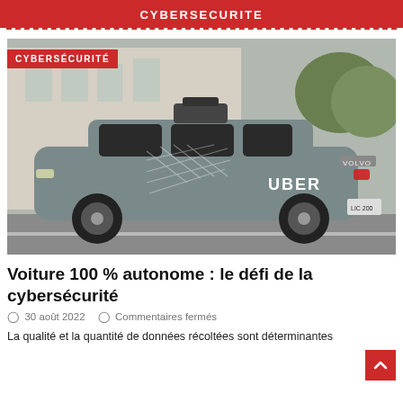CYBERSECURITE
[Figure (photo): A grey Volvo XC90 autonomous vehicle with Uber branding and sensor equipment on the roof, driving on a city street.]
CYBERSÉCURITÉ
Voiture 100 % autonome : le défi de la cybersécurité
30 août 2022   Commentaires fermés
La qualité et la quantité de données récoltées sont déterminantes